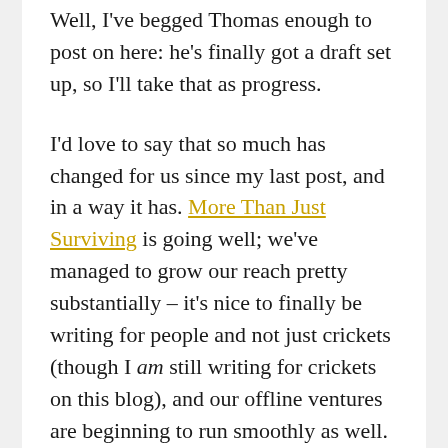Well, I've begged Thomas enough to post on here: he's finally got a draft set up, so I'll take that as progress.
I'd love to say that so much has changed for us since my last post, and in a way it has. More Than Just Surviving is going well; we've managed to grow our reach pretty substantially – it's nice to finally be writing for people and not just crickets (though I am still writing for crickets on this blog), and our offline ventures are beginning to run smoothly as well. In another sense, however, things haven't changed one bit, considering whatever's currently happening is pretty much more of the same stuff as before. The redundancy is tedious, but I'm starting to get used to the fact